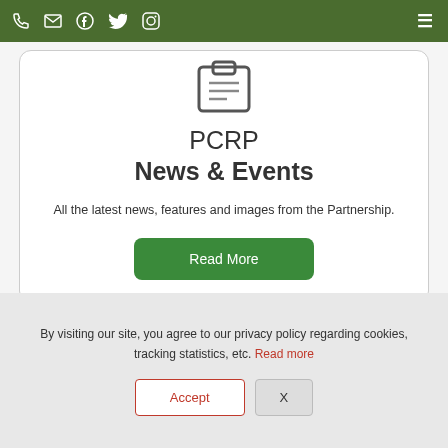Nav bar with phone, email, Facebook, Twitter, Instagram icons and menu
[Figure (illustration): Clipboard icon graphic]
PCRP News & Events
All the latest news, features and images from the Partnership.
Read More
By visiting our site, you agree to our privacy policy regarding cookies, tracking statistics, etc. Read more
Accept  X